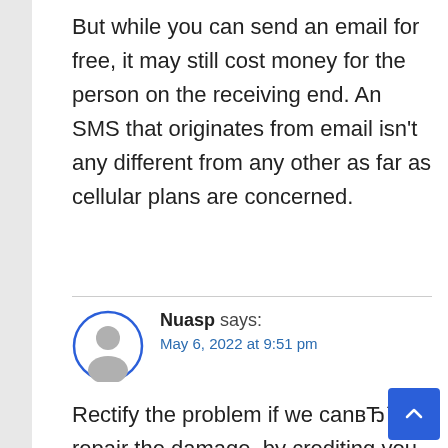But while you can send an email for free, it may still cost money for the person on the receiving end. An SMS that originates from email isn't any different from any other as far as cellular plans are concerned.
Nuasp says:
May 6, 2022 at 9:51 pm
Rectify the problem if we canвЂ™t repair the damage, by crediting you with the itemвЂ™s